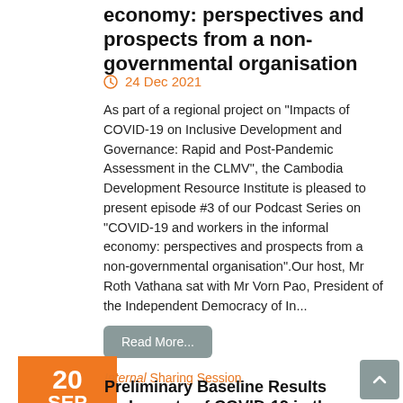economy: perspectives and prospects from a non-governmental organisation
24 Dec 2021
As part of a regional project on "Impacts of COVID-19 on Inclusive Development and Governance: Rapid and Post-Pandemic Assessment in the CLMV", the Cambodia Development Resource Institute is pleased to present episode #3 of our Podcast Series on "COVID-19 and workers in the informal economy: perspectives and prospects from a non-governmental organisation".Our host, Mr Roth Vathana sat with Mr Vorn Pao, President of the Independent Democracy of In...
Read More...
20 SEP
Internal Sharing Session
Preliminary Baseline Results on Impacts of COVID-19 in the Mekong Subregion